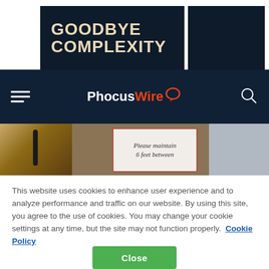[Figure (illustration): Advertisement banner with dark navy background reading GOODBYE COMPLEXITY in bold cream/tan letters, split into two panels]
[Figure (logo): PhocusWire logo with Phocus in white and Wire in red-orange, with a speech bubble icon, on dark navy navigation bar with hamburger menu and search icon]
[Figure (photo): Photo of a sign reading 'Please maintain 6 feet between' on a tablet-like display, with microphones and blurred background, social distancing context]
This website uses cookies to enhance user experience and to analyze performance and traffic on our website. By using this site, you agree to the use of cookies. You may change your cookie settings at any time, but the site may not function properly.  Cookie Policy
Close